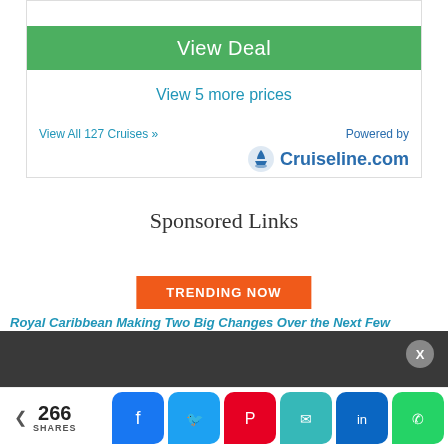View Deal
View 5 more prices
View All 127 Cruises »
Powered by Cruiseline.com
Sponsored Links
TRENDING NOW
Royal Caribbean Making Two Big Changes Over the Next Few
266 SHARES